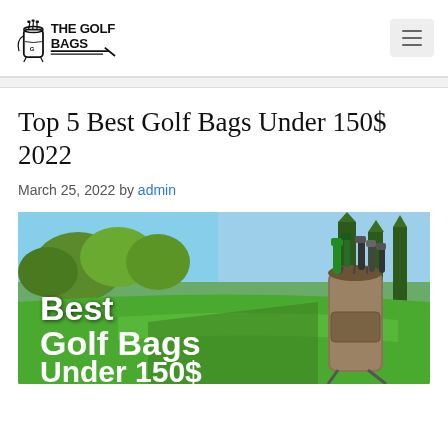[Figure (logo): The Golf Bags logo with golf bag illustration and bold text]
Top 5 Best Golf Bags Under 150$ 2022
March 25, 2022 by admin
[Figure (photo): Golf course background with trees and green fairway, golf bag with clubs on the right side, overlay text reading 'Best Golf Bags Under 150$']